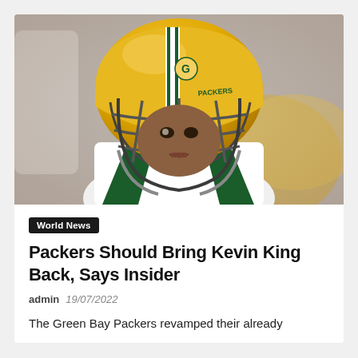[Figure (photo): Close-up action photo of a Green Bay Packers football player wearing a yellow/gold helmet with 'PACKERS' logo and black face mask, in a white jersey, blurred background]
World News
Packers Should Bring Kevin King Back, Says Insider
admin  19/07/2022
The Green Bay Packers revamped their already